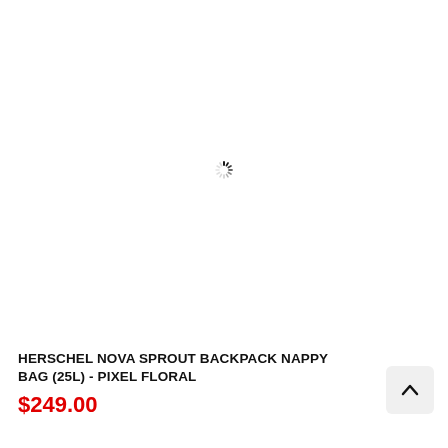[Figure (other): Loading spinner icon (circular dashed loading indicator) centered in the upper white product image area]
HERSCHEL NOVA SPROUT BACKPACK NAPPY BAG (25L) - PIXEL FLORAL
$249.00
[Figure (other): Scroll-to-top button with upward chevron arrow, gray rounded square button in bottom right corner]